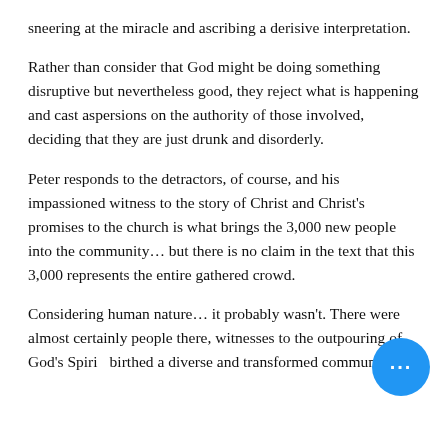sneering at the miracle and ascribing a derisive interpretation. Rather than consider that God might be doing something disruptive but nevertheless good, they reject what is happening and cast aspersions on the authority of those involved, deciding that they are just drunk and disorderly. Peter responds to the detractors, of course, and his impassioned witness to the story of Christ and Christ's promises to the church is what brings the 3,000 new people into the community… but there is no claim in the text that this 3,000 represents the entire gathered crowd. Considering human nature… it probably wasn't. There were almost certainly people there, witnesses to the outpouring of God's Spirit, birthed a diverse and transformed community, who just walked away.